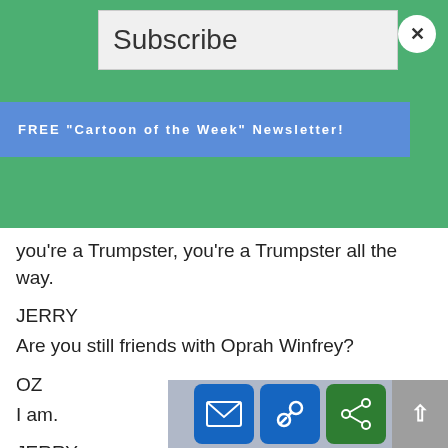Subscribe
FREE "Cartoon of the Week" Newsletter!
you're a Trumpster, you're a Trumpster all the way.
JERRY
Are you still friends with Oprah Winfrey?
OZ
I am.
JERRY
News flash. Oprah got arreste e Airport.